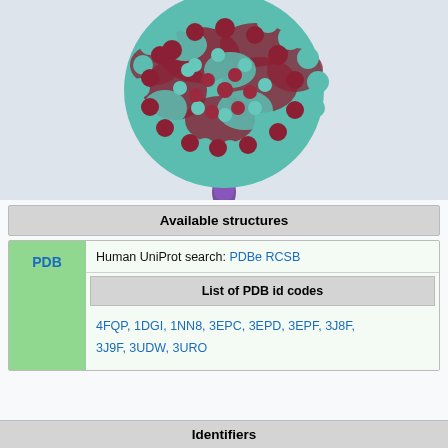[Figure (illustration): 3D molecular structure of a protein (likely a coronavirus spike protein or similar), rendered as a space-filling model with teal/cyan and dark red/maroon colored regions forming a large spherical head, and a purple stalk/stem extending downward. Background is light gray-blue.]
Available structures
| PDB |  |
| --- | --- |
| Human UniProt search: PDBe RCSB |  |
| List of PDB id codes |  |
| 4FQP, 1DGI, 1NN8, 3EPC, 3EPD, 3EPF, 3J8F, 3J9F, 3UDW, 3URO |  |
Identifiers